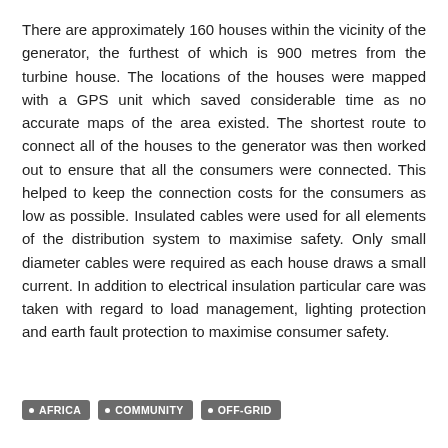There are approximately 160 houses within the vicinity of the generator, the furthest of which is 900 metres from the turbine house. The locations of the houses were mapped with a GPS unit which saved considerable time as no accurate maps of the area existed. The shortest route to connect all of the houses to the generator was then worked out to ensure that all the consumers were connected. This helped to keep the connection costs for the consumers as low as possible. Insulated cables were used for all elements of the distribution system to maximise safety. Only small diameter cables were required as each house draws a small current. In addition to electrical insulation particular care was taken with regard to load management, lighting protection and earth fault protection to maximise consumer safety.
AFRICA
COMMUNITY
OFF-GRID